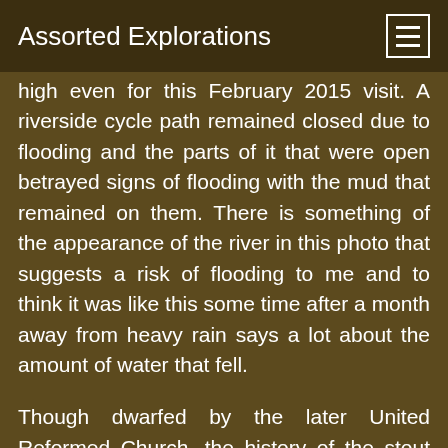Assorted Explorations
high even for this February 2015 visit. A riverside cycle path remained closed due to flooding and the parts of it that were open betrayed signs of flooding with the mud that remained on them. There is something of the appearance of the river in this photo that suggests a risk of flooding to me and to think it was like this some time after a month away from heavy rain says a lot about the amount of water that fell.
Though dwarfed by the later United Reformed Church, the history of the stout redbrick one to the right is the more interesting. Even today, it